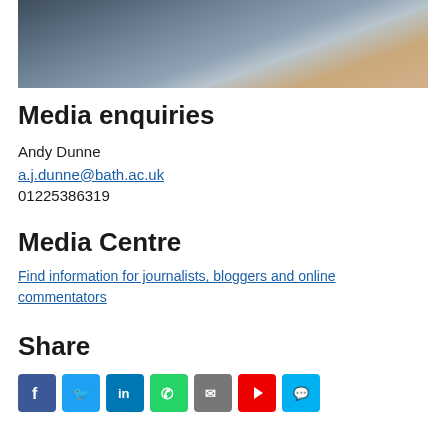[Figure (photo): Partial photo of a person in a grey suit jacket, cropped at the top of the page]
Media enquiries
Andy Dunne
a.j.dunne@bath.ac.uk
01225386319
Media Centre
Find information for journalists, bloggers and online commentators
Share
[Figure (infographic): Row of social media share icons: Facebook, Twitter, LinkedIn, WhatsApp, Email, YouTube, Messenger]